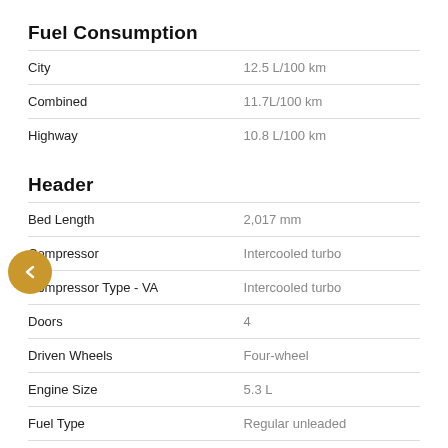Fuel Consumption
|  |  |
| --- | --- |
| City | 12.5 L/100 km |
| Combined | 11.7L/100 km |
| Highway | 10.8 L/100 km |
Header
|  |  |
| --- | --- |
| Bed Length | 2,017 mm |
| Compressor | Intercooled turbo |
| Compressor Type - VA | Intercooled turbo |
| Doors | 4 |
| Driven Wheels | Four-wheel |
| Engine Size | 5.3 L |
| Fuel Type | Regular unleaded |
| Mfr Bed Type | Regular |
| Number of Cylinders | V-8 |
| Trans Speeds - VA | 10 |
| Trans Type - VA | Automatic |
| Transmission | Automatic |